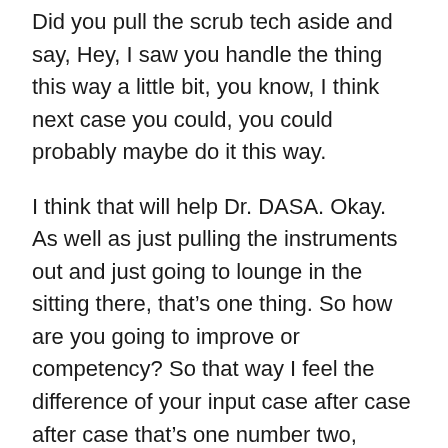Did you pull the scrub tech aside and say, Hey, I saw you handle the thing this way a little bit, you know, I think next case you could, you could probably maybe do it this way.
I think that will help Dr. DASA. Okay. As well as just pulling the instruments out and just going to lounge in the sitting there, that's one thing. So how are you going to improve or competency? So that way I feel the difference of your input case after case after case that's one number two, where's healthcare going, can you see where the puck is?
So we're going to measuring quality and paying for quality. So what are the basic quality metrics that CMS